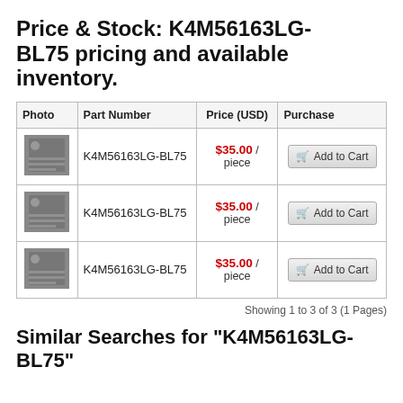Price & Stock: K4M56163LG-BL75 pricing and available inventory.
| Photo | Part Number | Price (USD) | Purchase |
| --- | --- | --- | --- |
| [photo] | K4M56163LG-BL75 | $35.00 / piece | Add to Cart |
| [photo] | K4M56163LG-BL75 | $35.00 / piece | Add to Cart |
| [photo] | K4M56163LG-BL75 | $35.00 / piece | Add to Cart |
Showing 1 to 3 of 3 (1 Pages)
Similar Searches for "K4M56163LG-BL75"